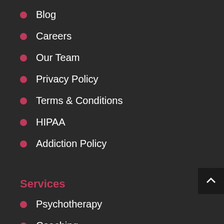Blog
Careers
Our Team
Privacy Policy
Terms & Conditions
HIPAA
Addiction Policy
Services
Psychotherapy
Coaching
Assessments